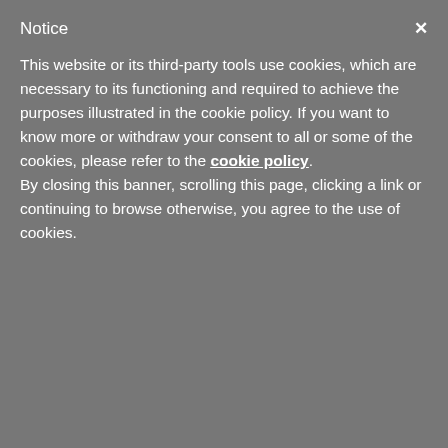Notice
This website or its third-party tools use cookies, which are necessary to its functioning and required to achieve the purposes illustrated in the cookie policy. If you want to know more or withdraw your consent to all or some of the cookies, please refer to the cookie policy. By closing this banner, scrolling this page, clicking a link or continuing to browse otherwise, you agree to the use of cookies.
Code : GC A3-95001
Regular Price : £2.56
£92.16 for 48 (Ex VAT)
£1.92 per unit
Add to cart